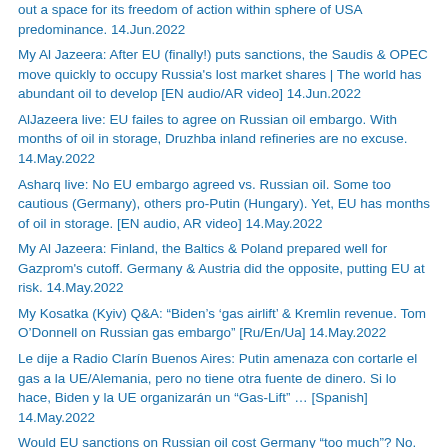out a space for its freedom of action within sphere of USA predominance. 14.Jun.2022
My Al Jazeera: After EU (finally!) puts sanctions, the Saudis & OPEC move quickly to occupy Russia's lost market shares | The world has abundant oil to develop [EN audio/AR video] 14.Jun.2022
AlJazeera live: EU failes to agree on Russian oil embargo. With months of oil in storage, Druzhba inland refineries are no excuse. 14.May.2022
Asharq live: No EU embargo agreed vs. Russian oil. Some too cautious (Germany), others pro-Putin (Hungary). Yet, EU has months of oil in storage. [EN audio, AR video] 14.May.2022
My Al Jazeera: Finland, the Baltics & Poland prepared well for Gazprom's cutoff. Germany & Austria did the opposite, putting EU at risk. 14.May.2022
My Kosatka (Kyiv) Q&A: “Biden’s ‘gas airlift’ & Kremlin revenue. Tom O’Donnell on Russian gas embargo” [Ru/En/Ua] 14.May.2022
Le dije a Radio Clarín Buenos Aires: Putin amenaza con cortarle el gas a la UE/Alemania, pero no tiene otra fuente de dinero. Si lo hace, Biden y la UE organizarán un “Gas-Lift” … [Spanish] 14.May.2022
Would EU sanctions on Russian oil cost Germany “too much”? No. Scholz & Habeck pose the wrong questions. [Asharq/Bloomberg live: En